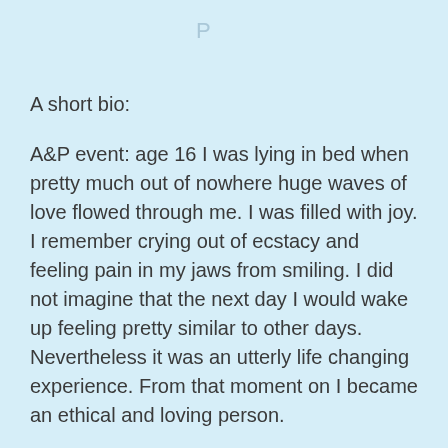P
A short bio:
A&P event: age 16 I was lying in bed when pretty much out of nowhere huge waves of love flowed through me. I was filled with joy. I remember crying out of ecstacy and feeling pain in my jaws from smiling. I did not imagine that the next day I would wake up feeling pretty similar to other days. Nevertheless it was an utterly life changing experience. From that moment on I became an ethical and loving person.
Stream entry: age 23 I became utterly absorbed in meditation. I sold all my stuff and left to India to have the time to